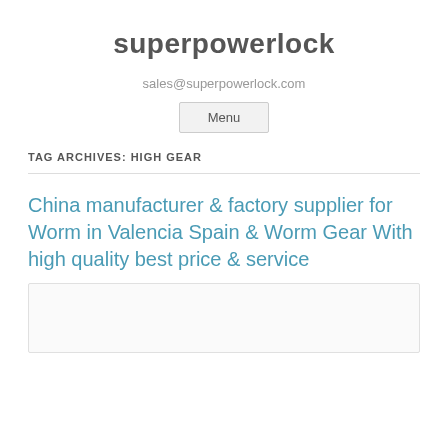superpowerlock
sales@superpowerlock.com
Menu
TAG ARCHIVES: HIGH GEAR
China manufacturer & factory supplier for Worm in Valencia Spain & Worm Gear With high quality best price & service
[Figure (other): Article image placeholder box]